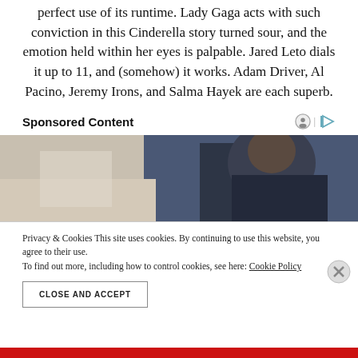perfect use of its runtime. Lady Gaga acts with such conviction in this Cinderella story turned sour, and the emotion held within her eyes is palpable. Jared Leto dials it up to 11, and (somehow) it works. Adam Driver, Al Pacino, Jeremy Irons, and Salma Hayek are each superb.
Sponsored Content
[Figure (photo): A person with dark hair wearing a dark jacket, partially visible, shown from the torso up against a light background with a box or surface nearby.]
Privacy & Cookies This site uses cookies. By continuing to use this website, you agree to their use.
To find out more, including how to control cookies, see here: Cookie Policy
CLOSE AND ACCEPT